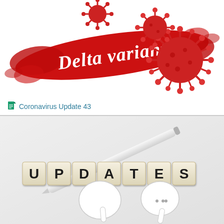[Figure (illustration): Red banner with cursive white text 'Delta variant' and red coronavirus particles/spikes on white background]
Coronavirus Update 43
[Figure (photo): Photo showing Scrabble-like letter tiles spelling 'UPDATES' on a light gray surface, with a white Apple Pencil stylus diagonally above and white AirPods earbuds at the bottom right]